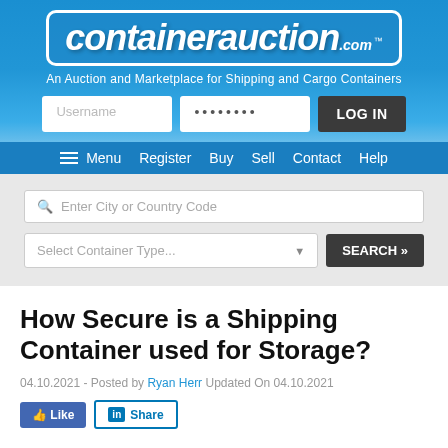[Figure (logo): ContainerAuction.com logo with blue background and white border box]
An Auction and Marketplace for Shipping and Cargo Containers
[Figure (screenshot): Login form with Username field, password field, and LOG IN button]
[Figure (screenshot): Navigation bar with Menu, Register, Buy, Sell, Contact, Help links]
[Figure (screenshot): Search area with Enter City or Country Code input, Select Container Type dropdown, and SEARCH button]
How Secure is a Shipping Container used for Storage?
04.10.2021 - Posted by Ryan Herr Updated On 04.10.2021
[Figure (screenshot): Like and Share social buttons]